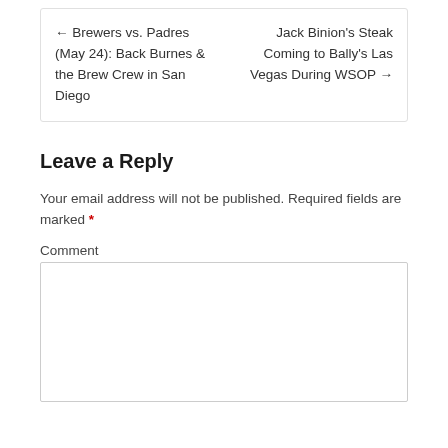← Brewers vs. Padres (May 24): Back Burnes & the Brew Crew in San Diego    Jack Binion's Steak Coming to Bally's Las Vegas During WSOP →
Leave a Reply
Your email address will not be published. Required fields are marked *
Comment